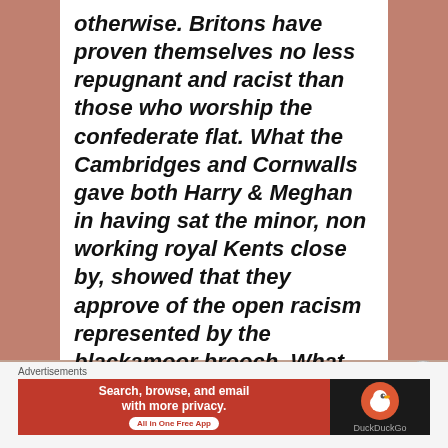otherwise. Britons have proven themselves no less repugnant and racist than those who worship the confederate flat. What the Cambridges and Cornwalls gave both Harry & Meghan in having sat the minor, non working royal Kents close by, showed that they approve of the open racism represented by the blackamoor brooch. What these fools have afforded Harry & Meghan is worth way more in PR gold than the crown jewels. Run with it!
[Figure (other): DuckDuckGo advertisement banner: 'Search, browse, and email with more privacy. All in One Free App' on red background, with DuckDuckGo duck logo on dark background.]